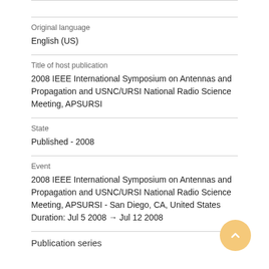Original language
English (US)
Title of host publication
2008 IEEE International Symposium on Antennas and Propagation and USNC/URSI National Radio Science Meeting, APSURSI
State
Published - 2008
Event
2008 IEEE International Symposium on Antennas and Propagation and USNC/URSI National Radio Science Meeting, APSURSI - San Diego, CA, United States
Duration: Jul 5 2008 → Jul 12 2008
Publication series